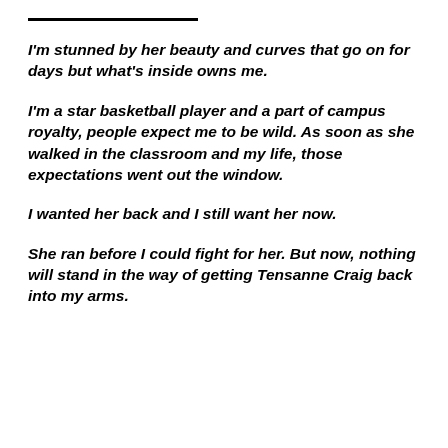___________________
I'm stunned by her beauty and curves that go on for days but what's inside owns me.
I'm a star basketball player and a part of campus royalty, people expect me to be wild. As soon as she walked in the classroom and my life, those expectations went out the window.
I wanted her back and I still want her now.
She ran before I could fight for her. But now, nothing will stand in the way of getting Tensanne Craig back into my arms.